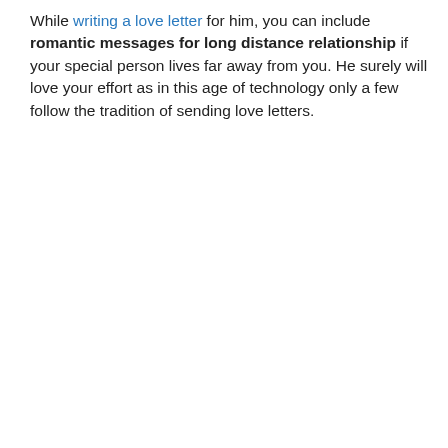While writing a love letter for him, you can include romantic messages for long distance relationship if your special person lives far away from you. He surely will love your effort as in this age of technology only a few follow the tradition of sending love letters.